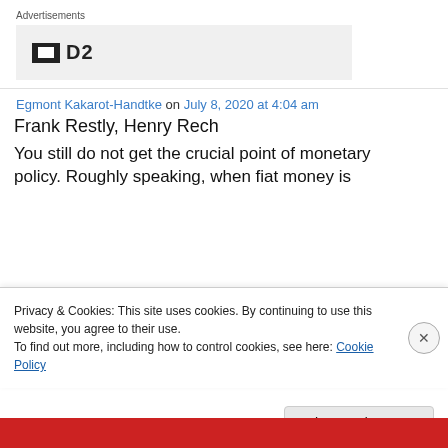Advertisements
[Figure (logo): Advertisement box with a small black icon and 'D2' text logo on grey background]
Egmont Kakarot-Handtke on July 8, 2020 at 4:04 am
Frank Restly, Henry Rech
You still do not get the crucial point of monetary policy. Roughly speaking, when fiat money is
Privacy & Cookies: This site uses cookies. By continuing to use this website, you agree to their use.
To find out more, including how to control cookies, see here: Cookie Policy
Close and accept